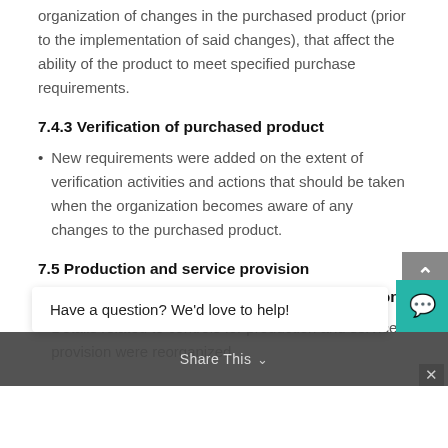organization of changes in the purchased product (prior to the implementation of said changes), that affect the ability of the product to meet specified purchase requirements.
7.4.3 Verification of purchased product
New requirements were added on the extent of verification activities and actions that should be taken when the organization becomes aware of any changes to the purchased product.
7.5 Production and service provision
7.5.1 Control of production and service provision
Details related to controls for production and service provision were reorganized
Production controls should include